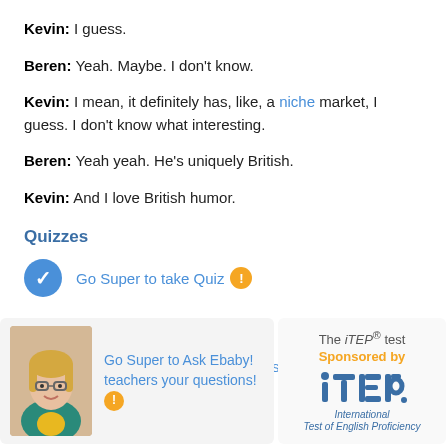Kevin: I guess.
Beren: Yeah. Maybe. I don't know.
Kevin: I mean, it definitely has, like, a niche market, I guess. I don't know what interesting.
Beren: Yeah yeah. He's uniquely British.
Kevin: And I love British humor.
Quizzes
Go Super to take Quiz
Lesson MP3
Go Super to download full lesson MP3
Go Super to Ask Ebaby! teachers your questions!
The iTEP® test Sponsored by iTEP. International Test of English Proficiency